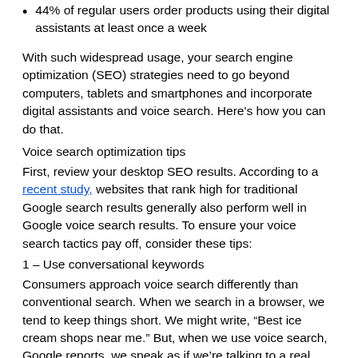44% of regular users order products using their digital assistants at least once a week
With such widespread usage, your search engine optimization (SEO) strategies need to go beyond computers, tablets and smartphones and incorporate digital assistants and voice search. Here's how you can do that.
Voice search optimization tips
First, review your desktop SEO results. According to a recent study, websites that rank high for traditional Google search results generally also perform well in Google voice search results. To ensure your voice search tactics pay off, consider these tips:
1 – Use conversational keywords
Consumers approach voice search differently than conventional search. When we search in a browser, we tend to keep things short. We might write, “Best ice cream shops near me.” But, when we use voice search, Google reports, we speak as if we’re talking to a real person. In fact, 70% of